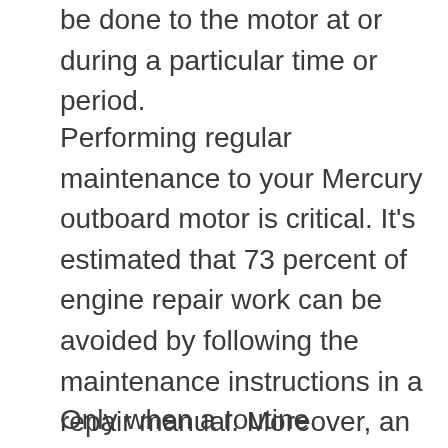be done to the motor at or during a particular time or period.
Performing regular maintenance to your Mercury outboard motor is critical. It's estimated that 73 percent of engine repair work can be avoided by following the maintenance instructions in a repair manual. Moreover, an outboard motor should never be left sitting dormant for an extended period of time (six or seven months). Always refer to the service manual's inspection and maintenance procedure section if a motor has been sitting for this long.
Only when a routine maintenance program has